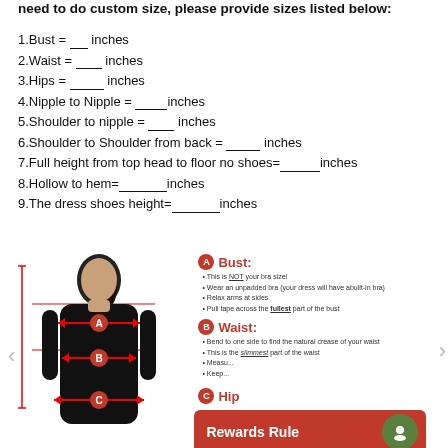need to do custom size, please provide sizes listed below:
1.Bust = __ inches
2.Waist = ___ inches
3.Hips = ____ inches
4.Nipple to Nipple = ____inches
5.Shoulder to nipple = ___ inches
6.Shoulder to Shoulder from back = ____ inches
7.Full height from top head to floor no shoes=_____inches
8.Hollow to hem=______inches
9.The dress shoes height=______inches
[Figure (illustration): Woman in black dress with measurement lines labeled A (bust), B (waist), C (hips) in red arrows and vertical measurement lines]
A Bust: This is NOT your bra size! Wear an unpadded bra (your dress will have abuilt-in bra) Relax arms at sides Pull tape across the fullest part of the bust
B Waist: Bend to one side to find the natural crease of your waist This is the slimmest part of the waist Measure... Keep...
C Hips:
Rewards Rule